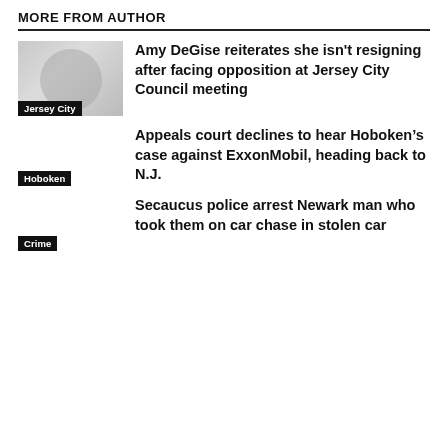MORE FROM AUTHOR
[Figure (photo): Thumbnail photo of a person, grayscale, with 'Jersey City' label overlay]
Amy DeGise reiterates she isn't resigning after facing opposition at Jersey City Council meeting
Appeals court declines to hear Hoboken's case against ExxonMobil, heading back to N.J.
Hoboken
Secaucus police arrest Newark man who took them on car chase in stolen car
Crime